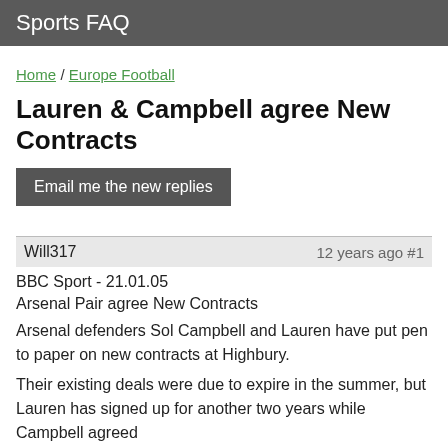Sports FAQ
Home / Europe Football
Lauren & Campbell agree New Contracts
Email me the new replies
Will317   12 years ago #1
BBC Sport - 21.01.05
Arsenal Pair agree New Contracts
[Figure (photo): Broken image placeholder]
Arsenal defenders Sol Campbell and Lauren have put pen to paper on new contracts at Highbury.
Their existing deals were due to expire in the summer, but Lauren has signed up for another two years while Campbell agreed...